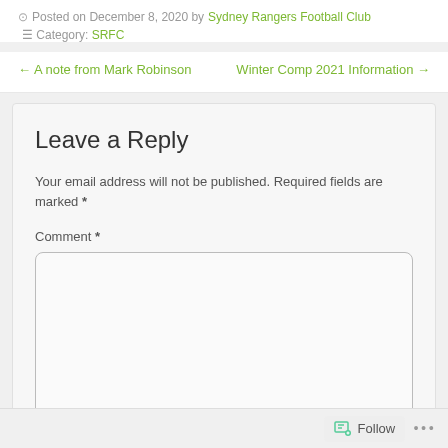Posted on December 8, 2020 by Sydney Rangers Football Club
Category: SRFC
← A note from Mark Robinson
Winter Comp 2021 Information →
Leave a Reply
Your email address will not be published. Required fields are marked *
Comment *
Follow